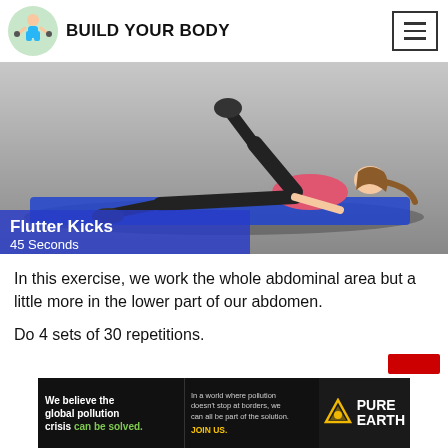BUILD YOUR BODY
[Figure (photo): Woman performing Flutter Kicks exercise on a blue mat, lying on her back with legs raised. Text overlay reads 'Flutter Kicks 45 Seconds' on a blue banner.]
In this exercise, we work the whole abdominal area but a little more in the lower part of our abdomen.
Do 4 sets of 30 repetitions.
[Figure (infographic): Advertisement banner for Pure Earth: 'We believe the global pollution crisis can be solved. In a world where pollution doesn't stop at borders, we can all be part of the solution. JOIN US.' with Pure Earth logo.]